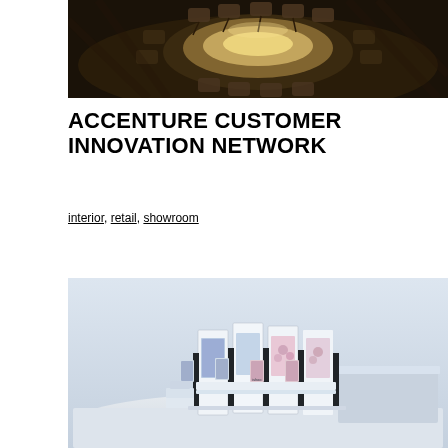[Figure (photo): Dark conference room with round illuminated table and office chairs arranged around it, viewed from above at an angle.]
ACCENTURE CUSTOMER INNOVATION NETWORK
interior, retail, showroom
[Figure (photo): 3D render or model of a showroom display system with multiple kiosks, panels and display stands arranged in rows on a white platform against a light grey background.]